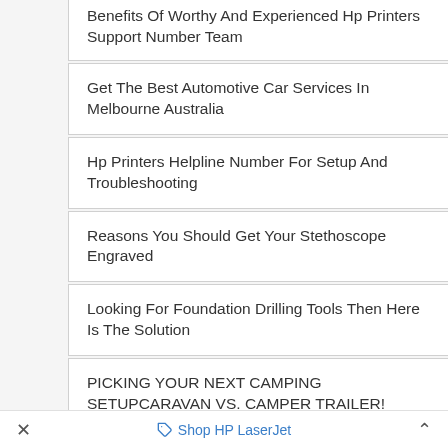Benefits Of Worthy And Experienced Hp Printers Support Number Team
Get The Best Automotive Car Services In Melbourne Australia
Hp Printers Helpline Number For Setup And Troubleshooting
Reasons You Should Get Your Stethoscope Engraved
Looking For Foundation Drilling Tools Then Here Is The Solution
PICKING YOUR NEXT CAMPING SETUPCARAVAN VS. CAMPER TRAILER!
✕   Shop HP LaserJet   ˄